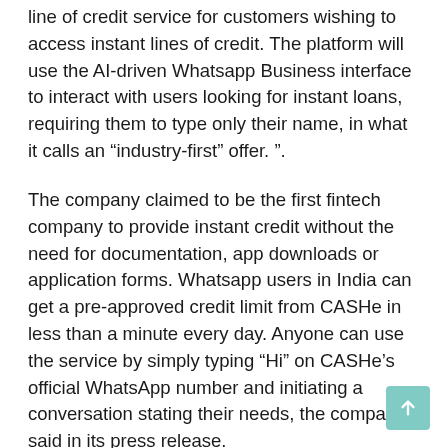line of credit service for customers wishing to access instant lines of credit. The platform will use the AI-driven Whatsapp Business interface to interact with users looking for instant loans, requiring them to type only their name, in what it calls an “industry-first” offer. ”.
The company claimed to be the first fintech company to provide instant credit without the need for documentation, app downloads or application forms. Whatsapp users in India can get a pre-approved credit limit from CASHe in less than a minute every day. Anyone can use the service by simply typing “Hi” on CASHe’s official WhatsApp number and initiating a conversation stating their needs, the company said in its press release.
An AI-powered bot supports this service, which matches customer inputs and automatically activates a formal request, as well as KYC verification, then sets up a line of credit with a few clicks via a guided conversational flow. once validated. Borrower data will be generated and displayed based on the